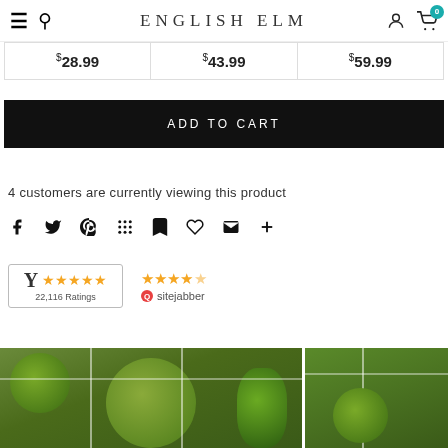ENGLISH ELM — navigation bar with hamburger menu, search, brand name, user icon, cart (0)
$28.99   $43.99   $59.99
ADD TO CART
4 customers are currently viewing this product
[Figure (infographic): Social sharing icons: Facebook, Twitter, Pinterest, grid/apps, bookmark, heart/Fancy, email/envelope, plus]
[Figure (infographic): Yotpo badge: Y logo with 4.5 orange stars, 22,116 Ratings; Sitejabber badge: 4.5 orange stars with Sitejabber logo]
[Figure (photo): Bottom portion showing green wreaths or topiary plants in front of windows/doorway, split into two panels]